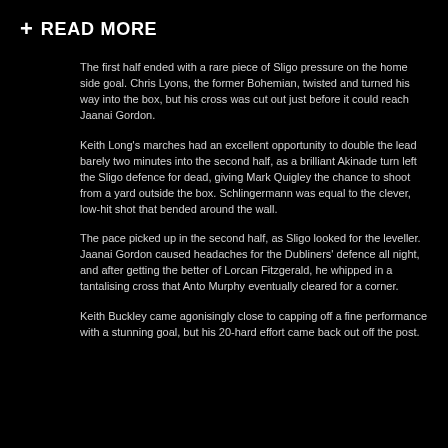+ READ MORE
The first half ended with a rare piece of Sligo pressure on the home side goal. Chris Lyons, the former Bohemian, twisted and turned his way into the box, but his cross was cut out just before it could reach Jaanai Gordon.
Keith Long's marches had an excellent opportunity to double the lead barely two minutes into the second half, as a brilliant Akinade turn left the Sligo defence for dead, giving Mark Quigley the chance to shoot from a yard outside the box. Schlingermann was equal to the clever, low-hit shot that bended around the wall.
The pace picked up in the second half, as Sligo looked for the leveller. Jaanai Gordon caused headaches for the Dubliners' defence all night, and after getting the better of Lorcan Fitzgerald, he whipped in a tantalising cross that Anto Murphy eventually cleared for a corner.
Keith Buckley came agonisingly close to capping off a fine performance with a stunning goal, but his 20-hard effort came back out off the post.